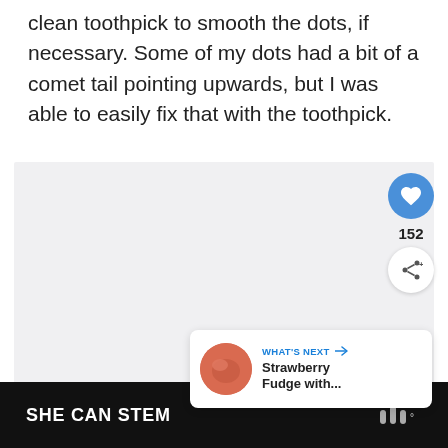clean toothpick to smooth the dots, if necessary. Some of my dots had a bit of a comet tail pointing upwards, but I was able to easily fix that with the toothpick.
[Figure (screenshot): A light gray image placeholder area with social interaction buttons: a blue heart/like button showing 152 likes, a share button, and a 'What's Next' card showing Strawberry Fudge with... link, plus carousel navigation dots.]
SHE CAN STEM